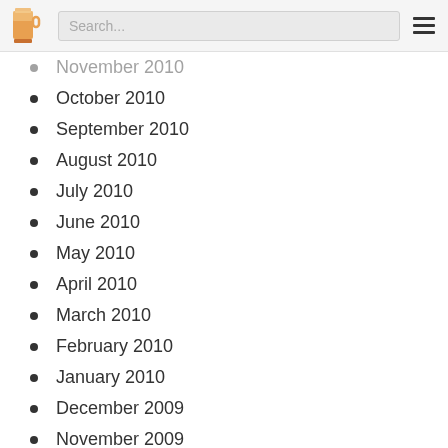Search...
November 2010
October 2010
September 2010
August 2010
July 2010
June 2010
May 2010
April 2010
March 2010
February 2010
January 2010
December 2009
November 2009
October 2009
September 2009
August 2009
July 2009
June 2009
May 2009